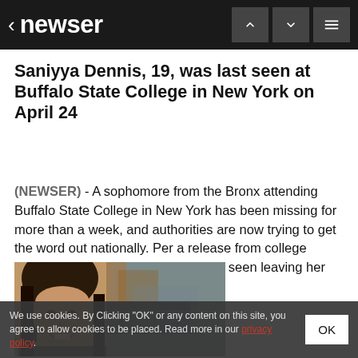< newser
Saniyya Dennis, 19, was last seen at Buffalo State College in New York on April 24
(NEWSER) - A sophomore from the Bronx attending Buffalo State College in New York has been missing for more than a week, and authorities are now trying to get the word out nationally. Per a release from college police, Saniyya Dennis, 19, was last seen leaving her dorm around 11pm on April...
[Figure (photo): Photo of Saniyya Dennis, a young woman smiling, with an outdoor background]
We use cookies. By Clicking "OK" or any content on this site, you agree to allow cookies to be placed. Read more in our privacy policy.